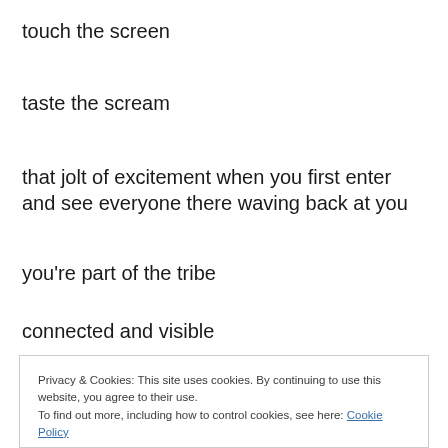touch the screen
taste the scream
that jolt of excitement when you first enter and see everyone there waving back at you
you're part of the tribe
connected and visible
Privacy & Cookies: This site uses cookies. By continuing to use this website, you agree to their use.
To find out more, including how to control cookies, see here: Cookie Policy